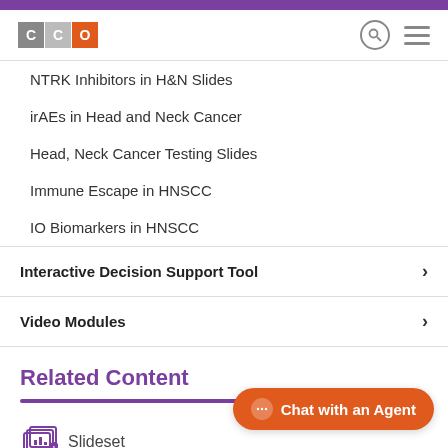[Figure (logo): CCO logo with grey C, grey C, orange O boxes]
NTRK Inhibitors in H&N Slides
irAEs in Head and Neck Cancer
Head, Neck Cancer Testing Slides
Immune Escape in HNSCC
IO Biomarkers in HNSCC
Interactive Decision Support Tool
Video Modules
Related Content
Slideset